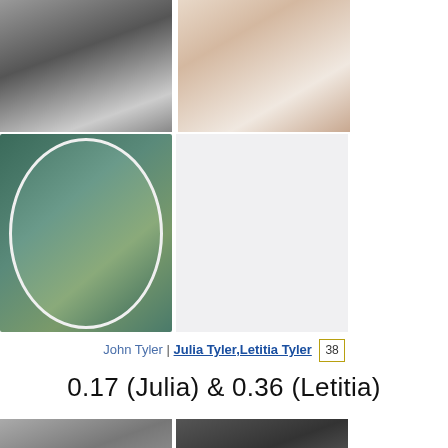[Figure (photo): Black and white portrait photo of John Tyler, upper left]
[Figure (photo): Color portrait painting of a woman in a pink/white dress, upper right (Julia Tyler)]
[Figure (photo): Oval portrait painting of Letitia Tyler in a white dress, middle left]
[Figure (photo): Empty/blank area, middle right]
John Tyler | Julia Tyler,Letitia Tyler  38
0.17 (Julia) & 0.36 (Letitia)
[Figure (photo): Partial photo bottom left]
[Figure (photo): Partial photo bottom right]